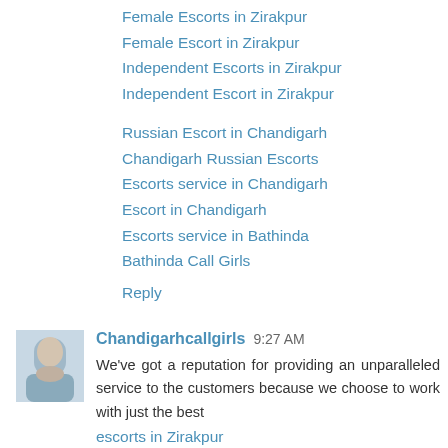Female Escorts in Zirakpur
Female Escort in Zirakpur
Independent Escorts in Zirakpur
Independent Escort in Zirakpur
Russian Escort in Chandigarh
Chandigarh Russian Escorts
Escorts service in Chandigarh
Escort in Chandigarh
Escorts service in Bathinda
Bathinda Call Girls
Reply
Chandigarhcallgirls  9:27 AM
We've got a reputation for providing an unparalleled service to the customers because we choose to work with just the best escorts in Zirakpur. Whether you're thinking of a dinner, a spouse for an occasion or event, a romantic experience in your home or hotel, Zirakpur escorts are here to make it happen for you. This is required to keep the standards we've set in the industry.